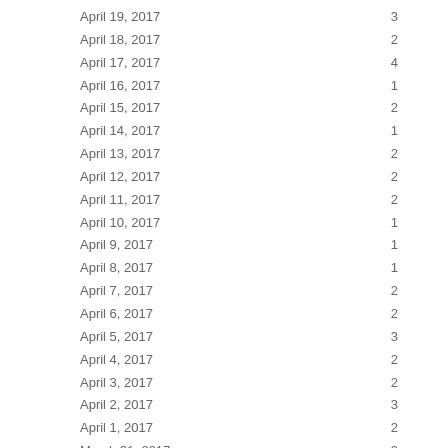| Date | Count |
| --- | --- |
| April 19, 2017 | 3 |
| April 18, 2017 | 2 |
| April 17, 2017 | 4 |
| April 16, 2017 | 1 |
| April 15, 2017 | 2 |
| April 14, 2017 | 1 |
| April 13, 2017 | 2 |
| April 12, 2017 | 2 |
| April 11, 2017 | 2 |
| April 10, 2017 | 1 |
| April 9, 2017 | 1 |
| April 8, 2017 | 1 |
| April 7, 2017 | 2 |
| April 6, 2017 | 2 |
| April 5, 2017 | 3 |
| April 4, 2017 | 2 |
| April 3, 2017 | 2 |
| April 2, 2017 | 3 |
| April 1, 2017 | 2 |
| March 31, 2017 | 3 |
| March 30, 2017 | 2 |
| March 29, 2017 | 1 |
| March 28, 2017 | 1 |